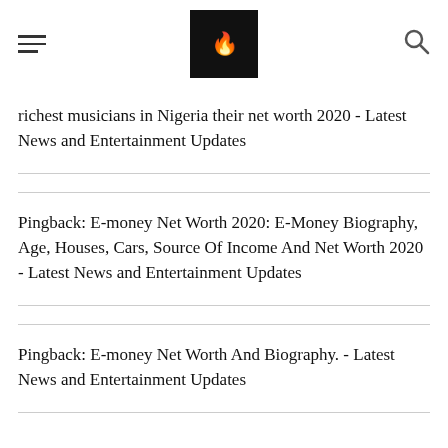[hamburger menu] [logo] [search icon]
richest musicians in Nigeria their net worth 2020 - Latest News and Entertainment Updates
Pingback: E-money Net Worth 2020: E-Money Biography, Age, Houses, Cars, Source Of Income And Net Worth 2020 - Latest News and Entertainment Updates
Pingback: E-money Net Worth And Biography. - Latest News and Entertainment Updates